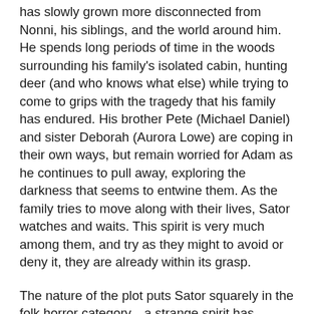has slowly grown more disconnected from Nonni, his siblings, and the world around him. He spends long periods of time in the woods surrounding his family's isolated cabin, hunting deer (and who knows what else) while trying to come to grips with the tragedy that his family has endured. His brother Pete (Michael Daniel) and sister Deborah (Aurora Lowe) are coping in their own ways, but remain worried for Adam as he continues to pull away, exploring the darkness that seems to entwine them. As the family tries to move along with their lives, Sator watches and waits. This spirit is very much among them, and try as they might to avoid or deny it, they are already within its grasp.
The nature of the plot puts Sator squarely in the folk horror category—a strange spirit has stalked this family for years, and knowledge of it has been passed down